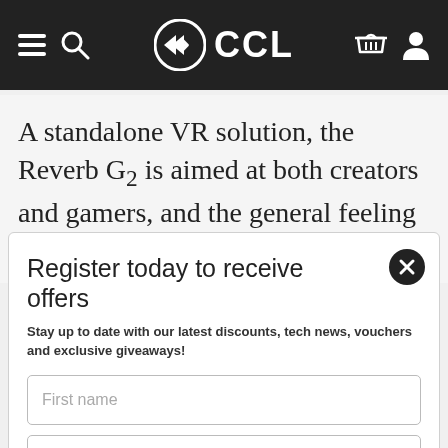CCL
A standalone VR solution, the Reverb G2 is aimed at both creators and gamers, and the general feeling about the headset is that it
Register today to receive offers
Stay up to date with our latest discounts, tech news, vouchers and exclusive giveaways!
First name
Email
Subscribe